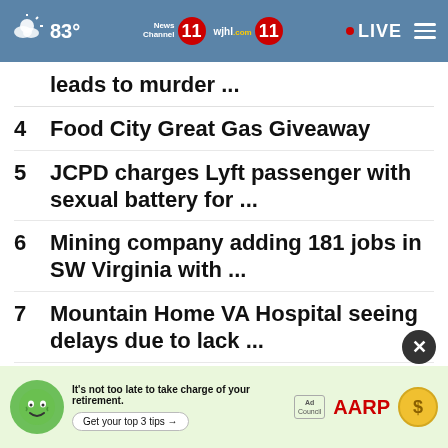83° News Channel 11 wjhl.com 11 • LIVE
leads to murder ...
4   Food City Great Gas Giveaway
5   JCPD charges Lyft passenger with sexual battery for ...
6   Mining company adding 181 jobs in SW Virginia with ...
7   Mountain Home VA Hospital seeing delays due to lack ...
8   Report: Church Hill employees said they felt pressured ...
[Figure (screenshot): AARP advertisement banner: green smiley mascot, text 'It's not too late to take charge of your retirement. Get your top 3 tips', Ad Council logo, AARP logo, gold coin icon]